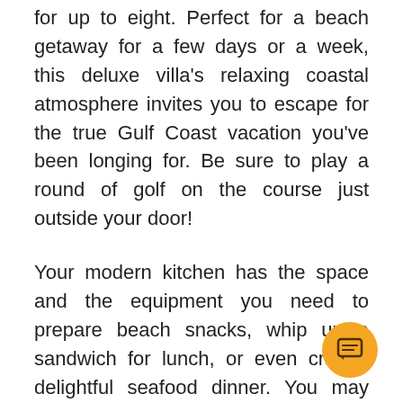for up to eight. Perfect for a beach getaway for a few days or a week, this deluxe villa's relaxing coastal atmosphere invites you to escape for the true Gulf Coast vacation you've been longing for. Be sure to play a round of golf on the course just outside your door!
Your modern kitchen has the space and the equipment you need to prepare beach snacks, whip up a sandwich for lunch, or even craft a delightful seafood dinner. You may even feel inspired to concoct a coastal cocktail and enjoy it out on your private patio while savoring the fresh salt air and beautiful views of the lush green scenery and meandering lake. A dining table and breakfast bar are inside if you'd rather grab a quick bite before heading down to the beach, which is just a short tram ride away!